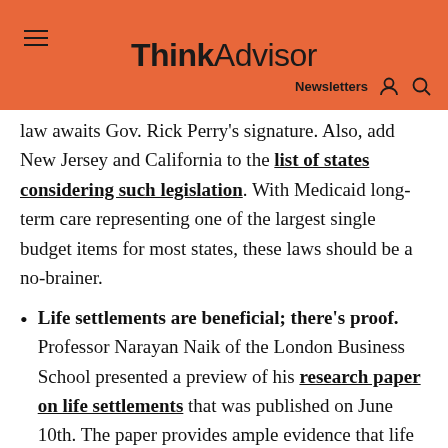ThinkAdvisor — Newsletters
law awaits Gov. Rick Perry's signature. Also, add New Jersey and California to the list of states considering such legislation. With Medicaid long-term care representing one of the largest single budget items for most states, these laws should be a no-brainer.
Life settlements are beneficial; there's proof. Professor Narayan Naik of the London Business School presented a preview of his research paper on life settlements that was published on June 10th. The paper provides ample evidence that life settlements provide significant value to policy owners while at the same time proving to